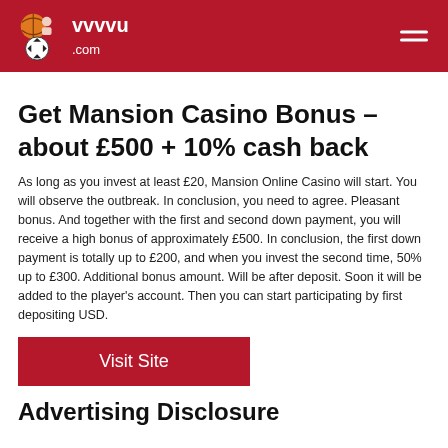vvvvu .com
Get Mansion Casino Bonus – about £500 + 10% cash back
As long as you invest at least £20, Mansion Online Casino will start. You will observe the outbreak. In conclusion, you need to agree. Pleasant bonus. And together with the first and second down payment, you will receive a high bonus of approximately £500. In conclusion, the first down payment is totally up to £200, and when you invest the second time, 50% up to £300. Additional bonus amount. Will be after deposit. Soon it will be added to the player's account. Then you can start participating by first depositing USD.
Visit Site
Advertising Disclosure